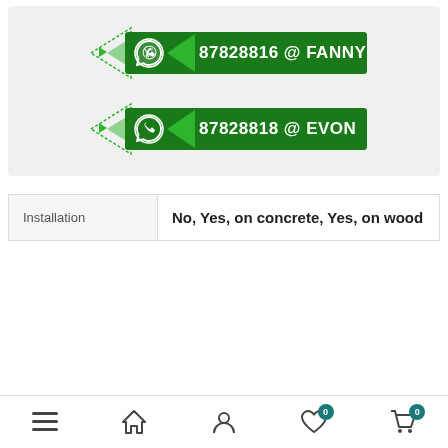[Figure (infographic): Two WhatsApp contact badges. First: 87828816 @ FANNY. Second: 87828818 @ EVON. Each badge has a WhatsApp logo icon, green arrow decorations, and a dark green background bar with white bold text.]
| Installation | No, Yes, on concrete, Yes, on wood |
| --- | --- |
| Installation | No, Yes, on concrete, Yes, on wood |
[Figure (infographic): Bottom navigation bar with hamburger menu, home icon, person icon, heart icon with badge 0, and cart icon with badge 0.]